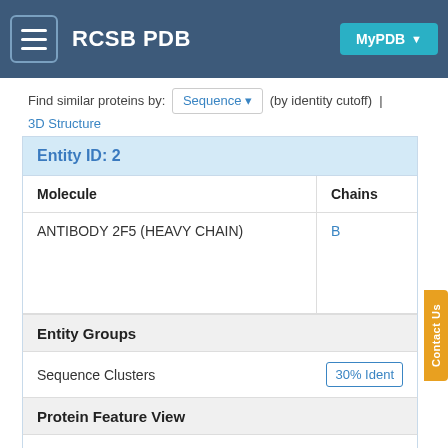RCSB PDB  MyPDB
Find similar proteins by: Sequence ▾ (by identity cutoff) | 3D Structure
| Entity ID: 2 |
| --- |
| Molecule | Chains |
| --- | --- |
| ANTIBODY 2F5 (HEAVY CHAIN) | B |
Entity Groups
Sequence Clusters  30% Ident
Protein Feature View
Reference Sequence